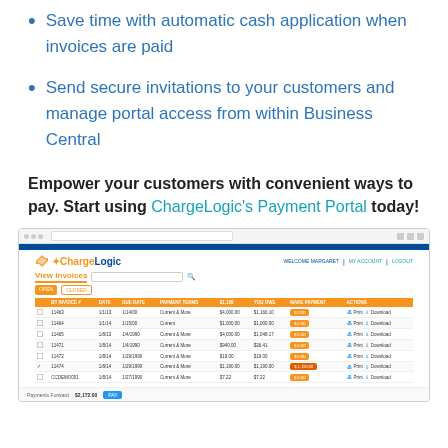Save time with automatic cash application when invoices are paid
Send secure invitations to your customers and manage portal access from within Business Central
Empower your customers with convenient ways to pay. Start using ChargeLogic's Payment Portal today!
[Figure (screenshot): Screenshot of ChargeLogic's Payment Portal showing View Invoices page with a table of invoices including columns for invoice number, due date, amount, current status, etc., with orange pay buttons and blue action icons. The portal header shows the ChargeLogic logo and navigation. A payment forward amount of $2,172.00 is shown at the bottom.]